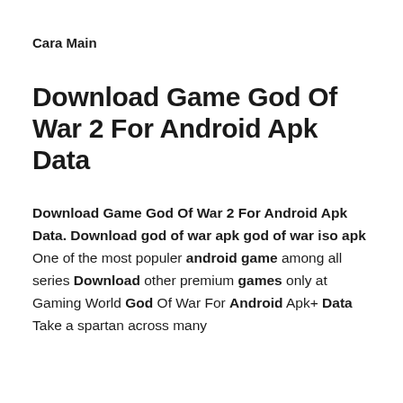Cara Main
Download Game God Of War 2 For Android Apk Data
Download Game God Of War 2 For Android Apk Data. Download god of war apk god of war iso apk One of the most populer android game among all series Download other premium games only at Gaming World God Of War For Android Apk+ Data Take a spartan across many